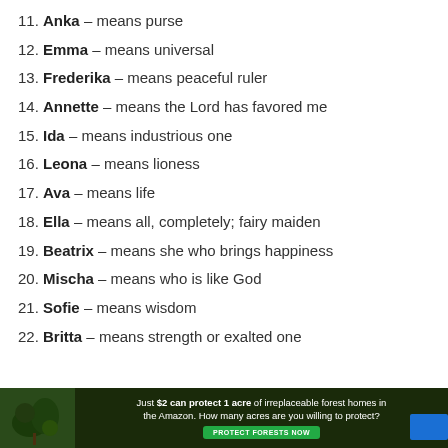11. Anka – means purse
12. Emma – means universal
13. Frederika – means peaceful ruler
14. Annette – means the Lord has favored me
15. Ida – means industrious one
16. Leona – means lioness
17. Ava – means life
18. Ella – means all, completely; fairy maiden
19. Beatrix – means she who brings happiness
20. Mischa – means who is like God
21. Sofie – means wisdom
22. Britta – means strength or exalted one
[Figure (other): Advertisement banner: Just $2 can protect 1 acre of irreplaceable forest homes in the Amazon. How many acres are you willing to protect? PROTECT FORESTS NOW button.]